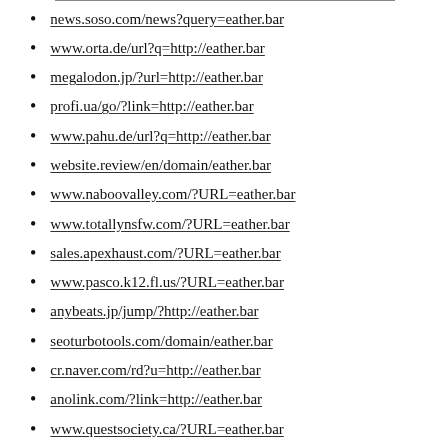news.soso.com/news?query=eather.bar
www.orta.de/url?q=http://eather.bar
megalodon.jp/?url=http://eather.bar
profi.ua/go/?link=http://eather.bar
www.pahu.de/url?q=http://eather.bar
website.review/en/domain/eather.bar
www.naboovalley.com/?URL=eather.bar
www.totallynsfw.com/?URL=eather.bar
sales.apexhaust.com/?URL=eather.bar
www.pasco.k12.fl.us/?URL=eather.bar
anybeats.jp/jump/?http://eather.bar
seoturbotools.com/domain/eather.bar
cr.naver.com/rd?u=http://eather.bar
anolink.com/?link=http://eather.bar
www.questsociety.ca/?URL=eather.bar
seo.pablos.it/domain/www.eather.bar
www.disl.edu/?URL=http://eather.bar
111.1gb.ru/go.php?http://eather.bar
holidaykitchens.com/?URL=eather.bar